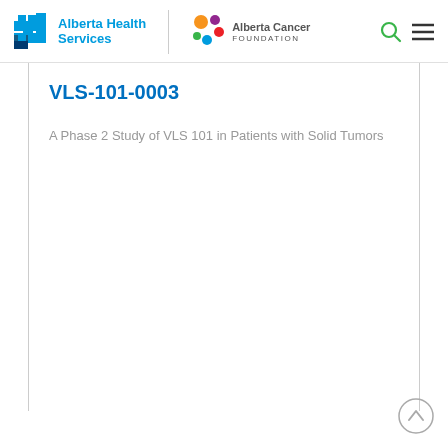[Figure (logo): Alberta Health Services logo and Alberta Cancer Foundation logo in the page header, with search and menu icons]
VLS-101-0003
A Phase 2 Study of VLS 101 in Patients with Solid Tumors